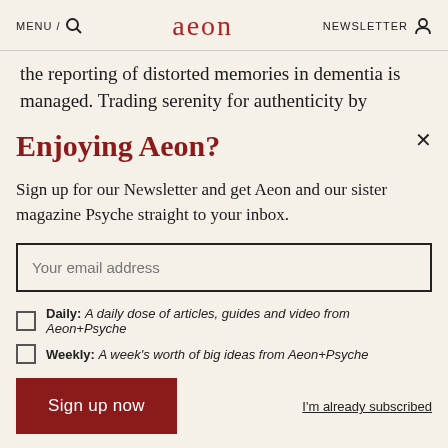MENU / [search] aeon NEWSLETTER [person icon]
the reporting of distorted memories in dementia is managed. Trading serenity for authenticity by
Enjoying Aeon?
Sign up for our Newsletter and get Aeon and our sister magazine Psyche straight to your inbox.
Your email address
Daily: A daily dose of articles, guides and video from Aeon+Psyche
Weekly: A week's worth of big ideas from Aeon+Psyche
Sign up now
I'm already subscribed
Privacy policy